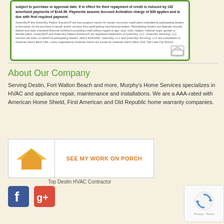subject to purchase or approval date. If in effect for their repayment of credit is reduced by 102 amortized payments of $144.96. Payments assume Account Activation charge of $39 applies and is due with first required payment.
GreenSky® and GreenSky Patient Solutions® are loan program names for certain consumer credit plans extended by participating lenders to borrowers for the purchase of goods and/or services from participating merchants/providers. Participating lenders are federally insured, federal and state chartered financial institutions providing credit without regard to age, race, color, religion, national origin, gender or familial status. GreenSky® and GreenSky Patient Solutions® are registered trademarks of GreenSky, LLC. GreenSky Servicing, LLC services the loans on behalf of participating lenders. NMLS #1416362. GreenSky, LLC and GreenSky Servicing, LLC are subsidiaries of Goldman Sachs Bank USA. Loans originated by Goldman Sachs are issued by Goldman Sachs Bank USA, Salt Lake City Branch.
About Our Company
Serving Destin, Fort Walton Beach and more, Murphy's Home Services specializes in HVAC and appliance repair, maintenance and installations. We are a AAA-rated with American Home Shield, First American and Old Republic home warranty companies.
[Figure (logo): Porch logo with orange house roof shape and SEE MY WORK ON PORCH link]
Top Destin HVAC Contractor
[Figure (logo): Facebook logo icon]
[Figure (logo): Google Plus logo icon]
[Figure (logo): reCAPTCHA badge with Privacy and Terms text]